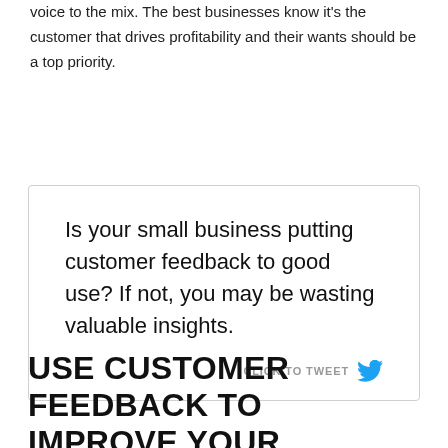voice to the mix. The best businesses know it's the customer that drives profitability and their wants should be a top priority.
Is your small business putting customer feedback to good use? If not, you may be wasting valuable insights.
USE CUSTOMER FEEDBACK TO IMPROVE YOUR OFFERINGS